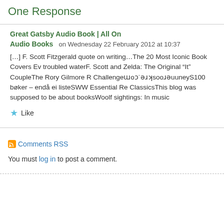One Response
Great Gatsby Audio Book | All On Audio Books  on Wednesday 22 February 2012 at 10:37
[…] F. Scott Fitzgerald quote on writing…The 20 Most Iconic Book Covers Ev troubled waterF. Scott and Zelda: The Original “It” CoupleThe Rory Gilmore R Challengeɯɔɔ˙ƴƸoɔƴƸƸuueyS100 bøker – endå ei listeSWW Essential Re ClassicsThis blog was supposed to be about booksWoolf sightings: In music
Like
Comments RSS
You must log in to post a comment.